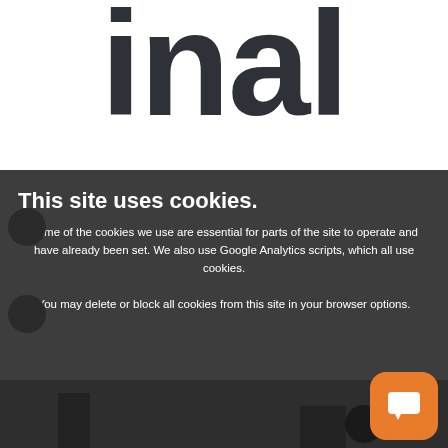[Figure (logo): Partial logo text 'inal' in large dark bold font on white background]
This site uses cookies.
Some of the cookies we use are essential for parts of the site to operate and have already been set. We also use Google Analytics scripts, which all use cookies.
You may delete or block all cookies from this site in your browser options.
CLOSE
More